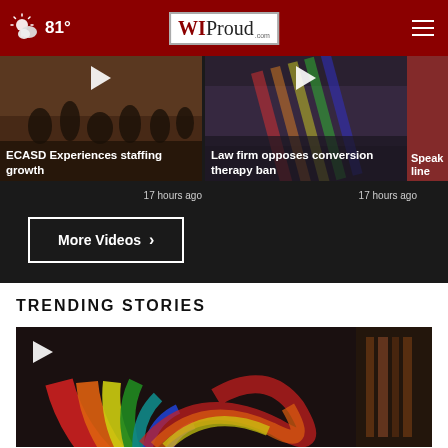81° WIProud.com
[Figure (screenshot): Video thumbnail: ECASD Experiences staffing growth, 17 hours ago]
[Figure (screenshot): Video thumbnail: Law firm opposes conversion therapy ban, 17 hours ago]
[Figure (screenshot): Video thumbnail: Speak... (partial)]
ECASD Experiences staffing growth
17 hours ago
Law firm opposes conversion therapy ban
17 hours ago
Speak line
More Videos ›
TRENDING STORIES
[Figure (photo): Rainbow sculpture/art photo with colorful ribbon-like rainbow design on dark background, video play button in top left]